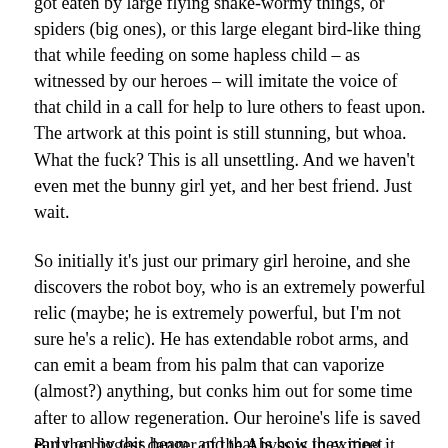got eaten by large flying snake-wormy things, or spiders (big ones), or this large elegant bird-like thing that while feeding on some hapless child – as witnessed by our heroes – will imitate the voice of that child in a call for help to lure others to feast upon. The artwork at this point is still stunning, but whoa. What the fuck? This is all unsettling. And we haven't even met the bunny girl yet, and her best friend. Just wait.
So initially it's just our primary girl heroine, and she discovers the robot boy, who is an extremely powerful relic (maybe; he is extremely powerful, but I'm not sure he's a relic). He has extendable robot arms, and can emit a beam from his palm that can vaporize (almost?) anything, but conks him out for some time after to allow regeneration. Our heroine's life is saved early on by this beam, and that is how they meet.
But the biggest danger of the Abyss is in exiting it. Even